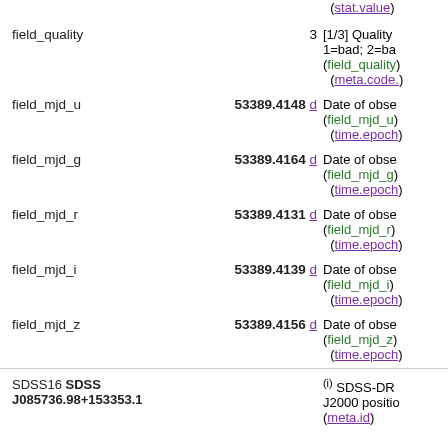(stat.value)
field_quality   3   [1/3] Quality 1=bad; 2=ba... (field_quality) (meta.code.)
field_mjd_u   53389.4148 d   Date of obse... (field_mjd_u) (time.epoch)
field_mjd_g   53389.4164 d   Date of obse... (field_mjd_g) (time.epoch)
field_mjd_r   53389.4131 d   Date of obse... (field_mjd_r) (time.epoch)
field_mjd_i   53389.4139 d   Date of obse... (field_mjd_i) (time.epoch)
field_mjd_z   53389.4156 d   Date of obse... (field_mjd_z) (time.epoch)
SDSS16 SDSS J085736.98+153353.1   (i) SDSS-DR J2000 positio... (meta.id)